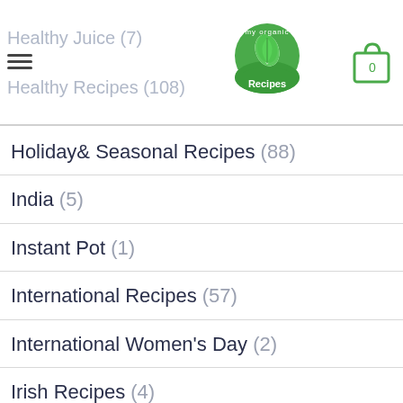Healthy Juice (7) | my organic Recipes | 0 | Healthy Recipes (108)
Holiday& Seasonal Recipes (88)
India (5)
Instant Pot (1)
International Recipes (57)
International Women's Day (2)
Irish Recipes (4)
Italian Cuisine (9)
japanese recipes (4)
Jewish Recipes (7)
July 4th (6)